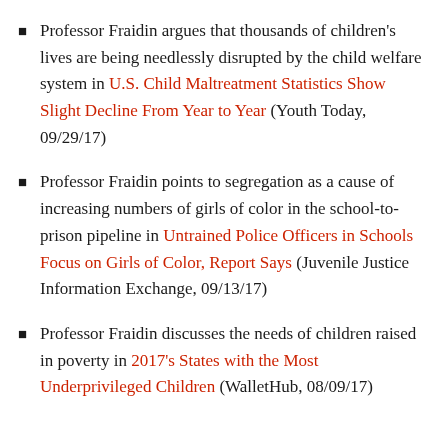Professor Fraidin argues that thousands of children's lives are being needlessly disrupted by the child welfare system in U.S. Child Maltreatment Statistics Show Slight Decline From Year to Year (Youth Today, 09/29/17)
Professor Fraidin points to segregation as a cause of increasing numbers of girls of color in the school-to-prison pipeline in Untrained Police Officers in Schools Focus on Girls of Color, Report Says (Juvenile Justice Information Exchange, 09/13/17)
Professor Fraidin discusses the needs of children raised in poverty in 2017's States with the Most Underprivileged Children (WalletHub, 08/09/17)